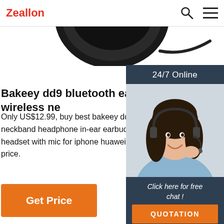Zeallon
[Figure (photo): Top portion of black wireless neckband earphone/headphone, circular earcup visible from above, dark background]
Bakeey dd9 bluetooth earphone wireless ne
Only US$12.99, buy best bakeey dd9 bluetooth ea neckband headphone in-ear earbuds durable sp headset with mic for iphone huawei sale online s price.
[Figure (infographic): 24/7 Online customer service widget showing a smiling woman with headset, 'Click here for free chat!' text and orange QUOTATION button]
Get Price